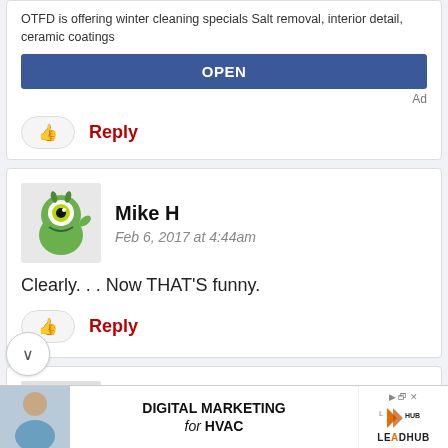OTFD is offering winter cleaning specials Salt removal, interior detail, ceramic coatings
OPEN
Ad
Reply
Mike H
Feb 6, 2017 at 4:44am
Clearly. . . Now THAT'S funny.
Reply
Ed P
Feb 5, 2017 at 9:26pm
DIGITAL MARKETING for HVAC
LEADHUB